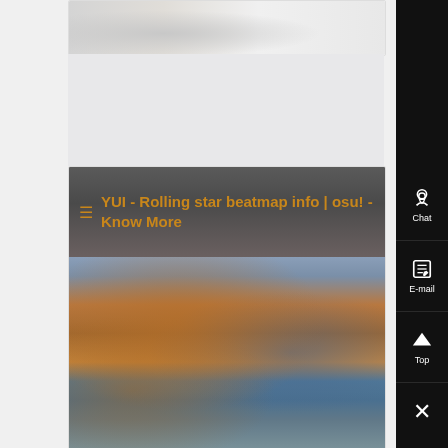[Figure (photo): Top card showing a partial outdoor industrial/snowy scene photo]
≡ YUI - Rolling star beatmap info | osu! - Know More
[Figure (photo): Industrial machinery photo showing large cylindrical tubes, metal structures, and blue equipment in a factory setting]
[Figure (screenshot): Right sidebar with Chat, E-mail, Top, and close (×) buttons on dark background]